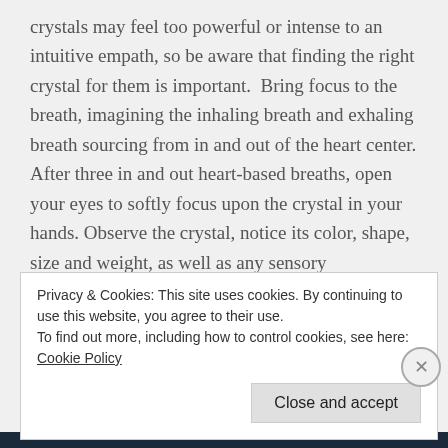crystals may feel too powerful or intense to an intuitive empath, so be aware that finding the right crystal for them is important.  Bring focus to the breath, imagining the inhaling breath and exhaling breath sourcing from in and out of the heart center. After three in and out heart-based breaths, open your eyes to softly focus upon the crystal in your hands. Observe the crystal, notice its color, shape, size and weight, as well as any sensory impressions of what it feels like. When feeling complete, then
Privacy & Cookies: This site uses cookies. By continuing to use this website, you agree to their use.
To find out more, including how to control cookies, see here: Cookie Policy